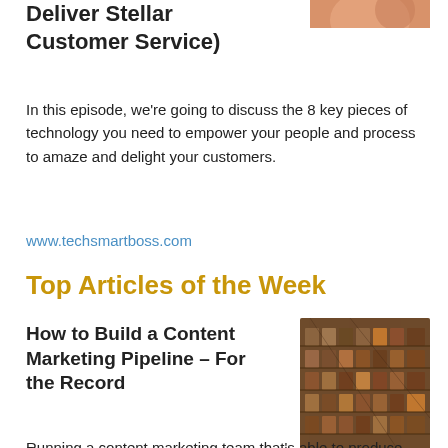Deliver Stellar Customer Service)
[Figure (photo): Partial image at top right, orange/skin tones visible]
In this episode, we're going to discuss the 8 key pieces of technology you need to empower your people and process to amaze and delight your customers.
www.techsmartboss.com
Top Articles of the Week
How to Build a Content Marketing Pipeline – For the Record
[Figure (photo): Photo of antique letterpress type blocks in a wooden tray]
Running a content marketing team that's able to produce high-quality work at a consistent clip, however, essentially means running your own digital publication. It's nestled within, but